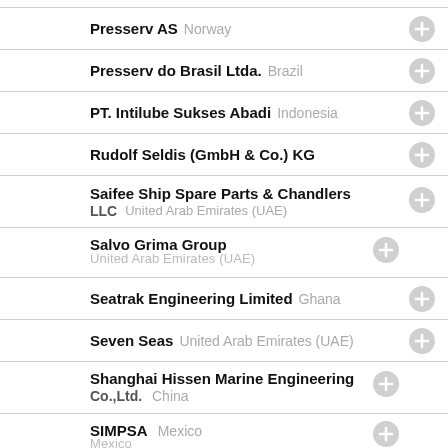Presserv AS  Norway
Presserv do Brasil Ltda.  Brazil
PT. Intilube Sukses Abadi  Indonesia
Rudolf Seldis (GmbH & Co.) KG
Saifee Ship Spare Parts & Chandlers  LLC  United Arab Emirates (UAE)
Salvo Grima Group
Seatrak Engineering Limited  Ghana
Seven Seas  United Arab Emirates (UAE)
Shanghai Hissen Marine Engineering Co. Ltd.  China
SIMPSA  Mexico
Takao Shinstores  Taiwan